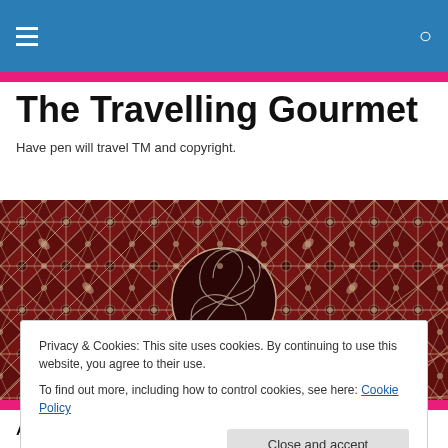Navigation bar with hamburger menu and search icon
The Travelling Gourmet
Have pen will travel TM and copyright.
[Figure (photo): Decorative red and cream mosaic ceiling pattern with geometric Islamic-style interlocking shapes and a circular spiral motif in the center.]
Privacy & Cookies: This site uses cookies. By continuing to use this website, you agree to their use.
To find out more, including how to control cookies, see here: Cookie Policy
Close and accept
All photos are of real food with NO special effects or